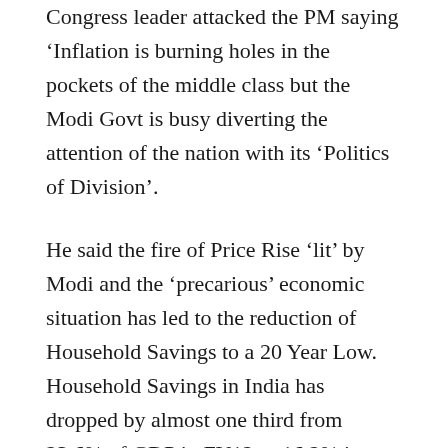Congress leader attacked the PM saying 'Inflation is burning holes in the pockets of the middle class but the Modi Govt is busy diverting the attention of the nation with its ‘Politics of Division’.
He said the fire of Price Rise ‘lit’ by Modi and the ‘precarious’ economic situation has led to the reduction of Household Savings to a 20 Year Low. Household Savings in India has dropped by almost one third from 23.6% of GDP in FY12 to 16.2% in FY17.
On IMF’s lowering of India’s GDP growth by 10 basis points in the year 2018, Surjewala said many experts have concluded that given the inflationary risks building up due to higher fuel prices and weaker Rupee and the Modi Govt’s lackluster approach of reforms have led to this downgrade.